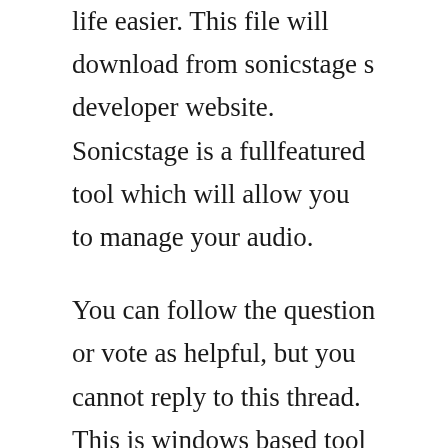life easier. This file will download from sonicstage s developer website. Sonicstage is a fullfeatured tool which will allow you to manage your audio.
You can follow the question or vote as helpful, but you cannot reply to this thread. This is windows based tool so you need to have pc running windows. It was first used in vaio pcs put on the japanese market in. Music organizer and player compatible and intended for sony walkman models. We provide the sonicstage download service the latest version